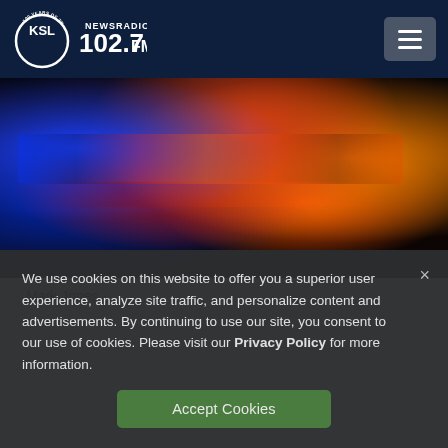KSL NewsRadio 102.7FM — 100 Years of Trust
[Figure (photo): Police car emergency lights with blue and red/orange flashing lights against a dark background]
Mark Jones
We use cookies on this website to offer you a superior user experience, analyze site traffic, and personalize content and advertisements. By continuing to use our site, you consent to our use of cookies. Please visit our Privacy Policy for more information.
Accept Cookies